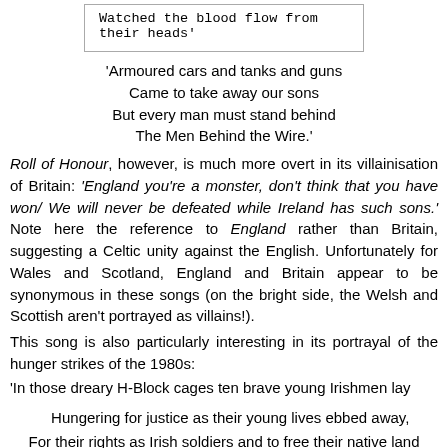Watched the blood flow from their heads'
'Armoured cars and tanks and guns
Came to take away our sons
But every man must stand behind
The Men Behind the Wire.'
Roll of Honour, however, is much more overt in its villainisation of Britain: 'England you're a monster, don't think that you have won/ We will never be defeated while Ireland has such sons.' Note here the reference to England rather than Britain, suggesting a Celtic unity against the English. Unfortunately for Wales and Scotland, England and Britain appear to be synonymous in these songs (on the bright side, the Welsh and Scottish aren't portrayed as villains!).
This song is also particularly interesting in its portrayal of the hunger strikes of the 1980s:
'In those dreary H-Block cages ten brave young Irishmen lay
Hungering for justice as their young lives ebbed away,
For their rights as Irish soldiers and to free their native land
They stood beside their leader - the gallant Bobby Sands.'